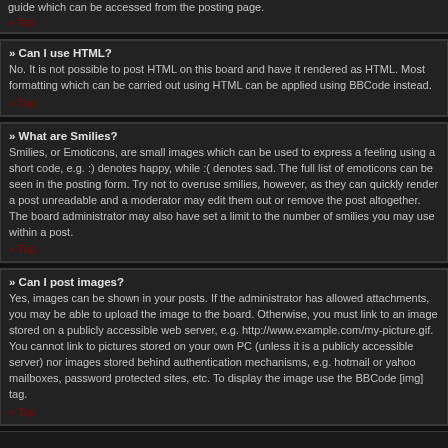guide which can be accessed from the posting page.
» Top
» Can I use HTML?
No. It is not possible to post HTML on this board and have it rendered as HTML. Most formatting which can be carried out using HTML can be applied using BBCode instead.
» Top
» What are Smilies?
Smilies, or Emoticons, are small images which can be used to express a feeling using a short code, e.g. :) denotes happy, while :( denotes sad. The full list of emoticons can be seen in the posting form. Try not to overuse smilies, however, as they can quickly render a post unreadable and a moderator may edit them out or remove the post altogether. The board administrator may also have set a limit to the number of smilies you may use within a post.
» Top
» Can I post images?
Yes, images can be shown in your posts. If the administrator has allowed attachments, you may be able to upload the image to the board. Otherwise, you must link to an image stored on a publicly accessible web server, e.g. http://www.example.com/my-picture.gif. You cannot link to pictures stored on your own PC (unless it is a publicly accessible server) nor images stored behind authentication mechanisms, e.g. hotmail or yahoo mailboxes, password protected sites, etc. To display the image use the BBCode [img] tag.
» Top